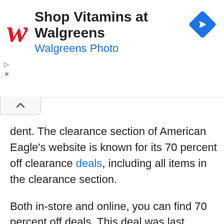[Figure (infographic): Walgreens advertisement banner with red cursive 'w' logo, text 'Shop Vitamins at Walgreens' in bold and 'Walgreens Photo' in blue, and a blue navigation diamond icon on the right.]
dent. The clearance section of American Eagle’s website is known for its 70 percent off clearance deals, including all items in the clearance section.
Both in-store and online, you can find 70 percent off deals. This deal was last verified on March 29, 2021. Look at the banner on the top right side of their website for the most up-to-date offer. Aside from that, you can get free shipping and returns on any order if you spend $50 or more.